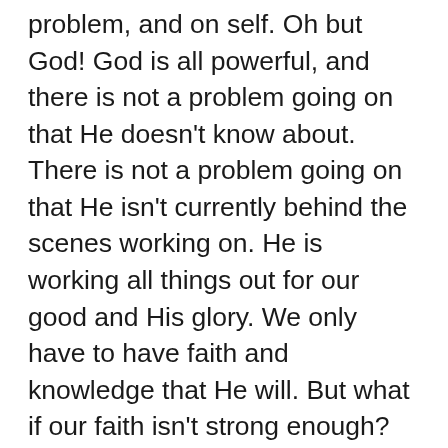problem, and on self. Oh but God! God is all powerful, and there is not a problem going on that He doesn't know about. There is not a problem going on that He isn't currently behind the scenes working on. He is working all things out for our good and His glory. We only have to have faith and knowledge that He will. But what if our faith isn't strong enough? What if we feel too weak? Have no fear! God is here!
God's power is exponential. The power of God isn't relative to the amount faith we have. (Praise the Lord!) It is exponential in nature. God's power is not dependent on the amount of faith or the level of faith that we have but rather on the amount of goodness and grace that God has. On those really horrible, tough, hard days we only have to remember that God is all powerful. There is nothing that He can not do. Trust